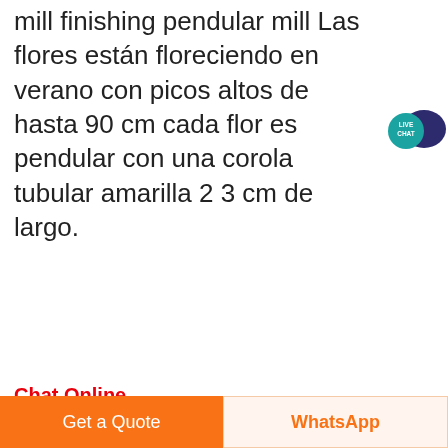mill finishing pendular mill Las flores están floreciendo en verano con picos altos de hasta 90 cm cada flor es pendular con una corola tubular amarilla 2 3 cm de largo.
[Figure (other): Live Chat speech bubble icon in teal/dark blue with text LIVE CHAT]
Chat Online
[Figure (photo): Photo of a large black industrial pendular mill machine with red ring detail, in an industrial room setting]
Architect and designer Carlo Mollino's Turin apartment